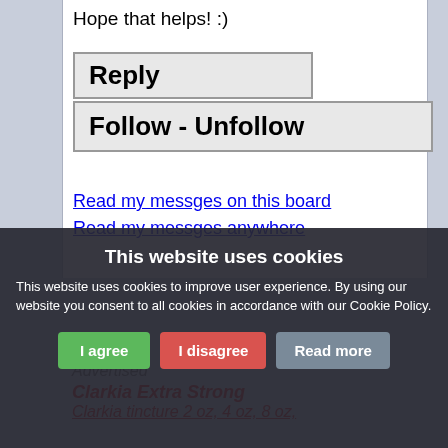Hope that helps! :)
[Figure (screenshot): Reply button - a rectangular button labeled 'Reply' in bold black text on light gray background with border]
[Figure (screenshot): Follow - Unfollow button - a wider rectangular button labeled 'Follow - Unfollow' in bold black text on light gray background with border]
Read my messges on this board
Read my messges anywhere
Advertised
Clarkia Extra Strong
Clarkia tincture 2 oz, 4 oz, 8 oz,
This website uses cookies
This website uses cookies to improve user experience. By using our website you consent to all cookies in accordance with our Cookie Policy.
[Figure (screenshot): Three buttons: I agree (green), I disagree (red), Read more (gray)]